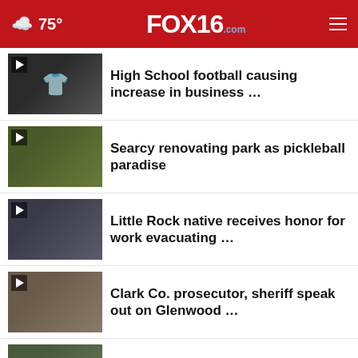75° FOX16.com
High School football causing increase in business …
Searcy renovating park as pickleball paradise
Little Rock native receives honor for work evacuating …
Clark Co. prosecutor, sheriff speak out on Glenwood …
Henderson State University freshman and grad students …
[Figure (screenshot): GMC advertisement banner: GMC logo with tagline WE ARE PROFESSIONAL GRADE, alongside a Ford thumbnail]